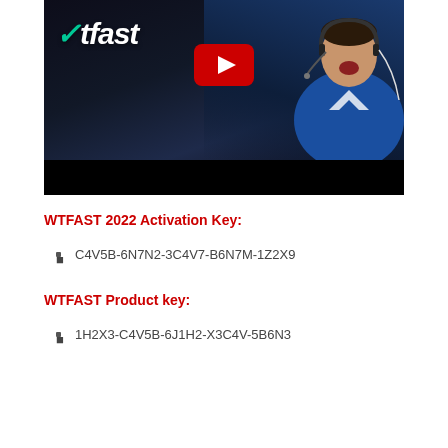[Figure (screenshot): WTFast branded YouTube video thumbnail showing a gamer wearing a headset and blue jersey, with the WTFast logo on the left and a YouTube play button in the center. Bottom portion is a black bar.]
WTFAST 2022 Activation Key:
C4V5B-6N7N2-3C4V7-B6N7M-1Z2X9
WTFAST Product key:
1H2X3-C4V5B-6J1H2-X3C4V-5B6N3